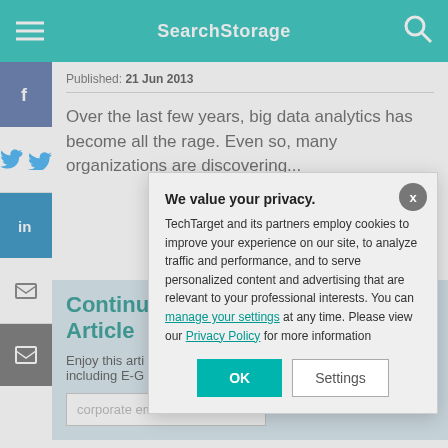SearchStorage
Published: 21 Jun 2013
Over the last few years, big data analytics has become all the rage. Even so, many organizations are discovering...
Continue Reading This Article
Enjoy this article as well as all of our content, including E-G...
We value your privacy. TechTarget and its partners employ cookies to improve your experience on our site, to analyze traffic and performance, and to serve personalized content and advertising that are relevant to your professional interests. You can manage your settings at any time. Please view our Privacy Policy for more information